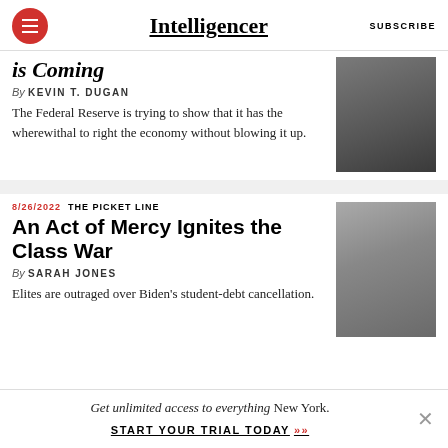Intelligencer
is Coming
By KEVIN T. DUGAN
The Federal Reserve is trying to show that it has the wherewithal to right the economy without blowing it up.
8/26/2022  THE PICKET LINE
An Act of Mercy Ignites the Class War
By SARAH JONES
Elites are outraged over Biden's student-debt cancellation.
Get unlimited access to everything New York. START YOUR TRIAL TODAY »